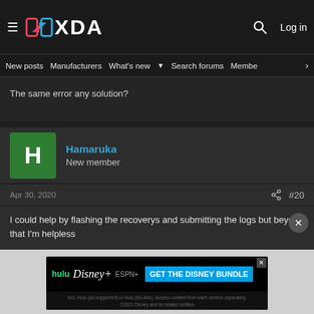XDA Forums — Log in
New posts   Manufacturers   What's new   Search forums   Members   >
The same error any solution?
Hamaruka
New member
Apr 30, 2020   #20
I could help by flashing the recoverys and submitting the logs but beyond that I'm helpless
[Figure (infographic): Disney Bundle advertisement banner: hulu, Disney+, ESPN+ — GET THE DISNEY BUNDLE. Incl. Hulu (ad-supported) or Hulu (No Ads). Access content from each service separately. ©2021 Disney and its related entities]